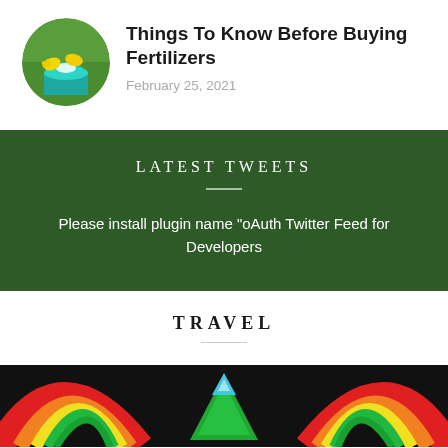[Figure (photo): Circular thumbnail of person pouring white granules from yellow gloved hands into a teal/green bucket outdoors]
Things To Know Before Buying Fertilizers
February 25, 2021
LATEST TWEETS
Please install plugin name "oAuth Twitter Feed for Developers
TRAVEL
[Figure (photo): Close-up photo of colorful rainbow-colored geometric shapes/arches in red, orange, yellow, green, blue on a dark background]